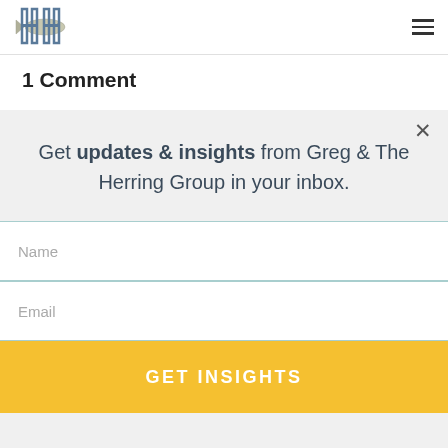[Figure (logo): The Herring Group logo with a herring fish and stylized H letters]
1 Comment
Get updates & insights from Greg & The Herring Group in your inbox.
Name
Email
GET INSIGHTS